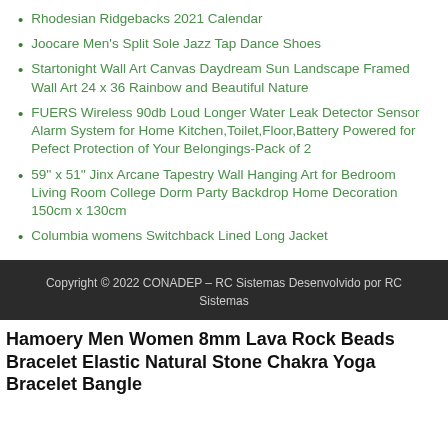Rhodesian Ridgebacks 2021 Calendar
Joocare Men's Split Sole Jazz Tap Dance Shoes
Startonight Wall Art Canvas Daydream Sun Landscape Framed Wall Art 24 x 36 Rainbow and Beautiful Nature
FUERS Wireless 90db Loud Longer Water Leak Detector Sensor Alarm System for Home Kitchen,Toilet,Floor,Battery Powered for Pefect Protection of Your Belongings-Pack of 2
59'' x 51'' Jinx Arcane Tapestry Wall Hanging Art for Bedroom Living Room College Dorm Party Backdrop Home Decoration 150cm x 130cm
Columbia womens Switchback Lined Long Jacket
Copyright © 2022 CONADEP – RC Sistemas Desenvolvido por RC Sistemas
Hamoery Men Women 8mm Lava Rock Beads Bracelet Elastic Natural Stone Chakra Yoga Bracelet Bangle